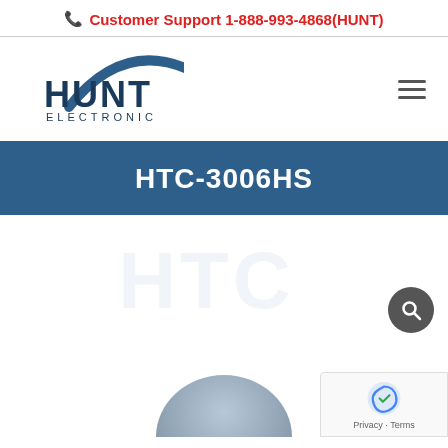Customer Support 1-888-993-4868(HUNT)
[Figure (logo): Hunt Electronic logo with stylized arc and company name]
HTC-3006HS
[Figure (photo): Product image area showing a dome camera (partially visible) with watermark text and search icon]